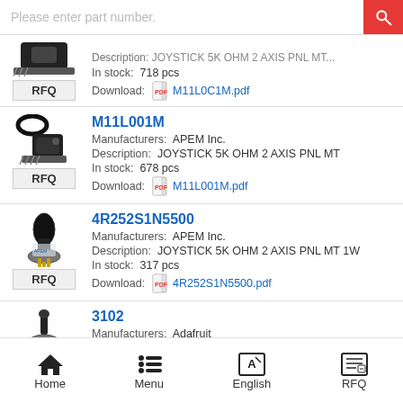[Figure (screenshot): Search bar with placeholder text 'Please enter part number.' and red search button]
[Figure (photo): Partial product listing with RFQ button, joystick part image]
In stock: 718 pcs
Download: M11L0C1M.pdf
M11L001M
Manufacturers: APEM Inc.
Description: JOYSTICK 5K OHM 2 AXIS PNL MT
In stock: 678 pcs
Download: M11L001M.pdf
4R252S1N5500
Manufacturers: APEM Inc.
Description: JOYSTICK 5K OHM 2 AXIS PNL MT 1W
In stock: 317 pcs
Download: 4R252S1N5500.pdf
3102
Manufacturers: Adafruit
Home  Menu  English  RFQ